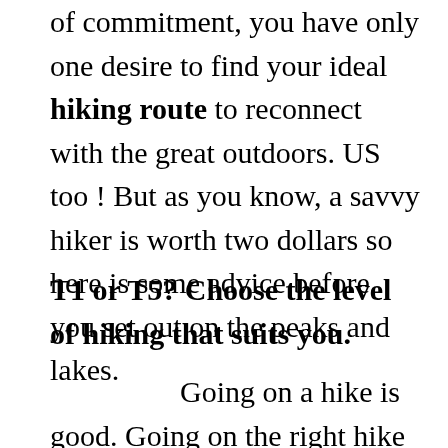of commitment, you have only one desire to find your ideal hiking route to reconnect with the great outdoors. US too ! But as you know, a savvy hiker is worth two dollars so here is some advice before you set out on the peaks and lakes.
T1 or T5? Choose the level of hiking that suits you.
Going on a hike is good. Going on the right hike is better. To avoid the